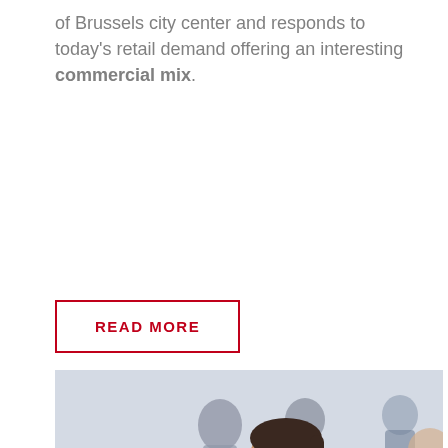of Brussels city center and responds to today's retail demand offering an interesting commercial mix.
READ MORE
[Figure (photo): Office scene with a bearded man in the foreground wearing red headphones around his neck, focused on a laptop. Several people in the background in a modern open office setting. A young girl is visible on the left.]